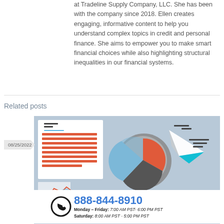at Tradeline Supply Company, LLC. She has been with the company since 2018. Ellen creates engaging, informative content to help you understand complex topics in credit and personal finance. She aims to empower you to make smart financial choices while also highlighting structural inequalities in our financial systems.
Related posts
[Figure (infographic): A blog post thumbnail showing a document with colorful horizontal lines, a pie chart with magnifying glass, a paper airplane, and a phone/contact graphic. Date badge shows 08/25/2022. Phone number 888-844-8910 with hours Monday-Friday 7:00 AM PST - 6:00 PM PST, Saturday 8:00 AM PST - 5:00 PM PST.]